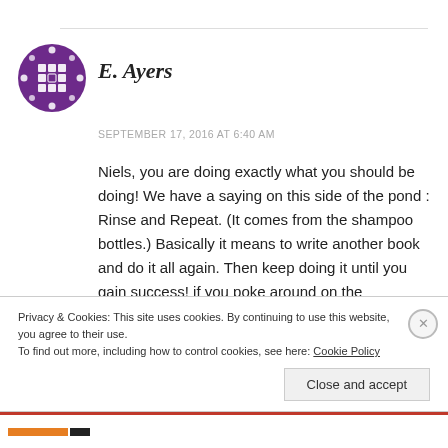[Figure (illustration): Purple circular avatar icon with a film reel / globe grid pattern]
E. Ayers
SEPTEMBER 17, 2016 AT 6:40 AM
Niels, you are doing exactly what you should be doing! We have a saying on this side of the pond : Rinse and Repeat. (It comes from the shampoo bottles.) Basically it means to write another book and do it all again. Then keep doing it until you gain success! if you poke around on the
Privacy & Cookies: This site uses cookies. By continuing to use this website, you agree to their use.
To find out more, including how to control cookies, see here: Cookie Policy
Close and accept